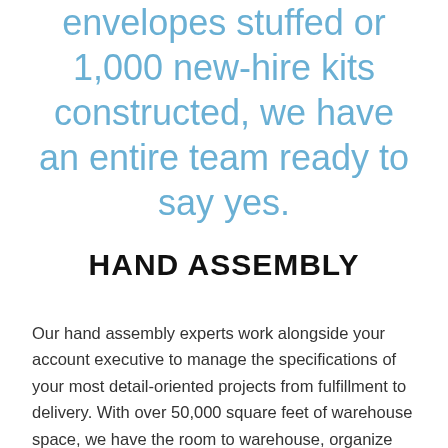envelopes stuffed or 1,000 new-hire kits constructed, we have an entire team ready to say yes.
HAND ASSEMBLY
Our hand assembly experts work alongside your account executive to manage the specifications of your most detail-oriented projects from fulfillment to delivery. With over 50,000 square feet of warehouse space, we have the room to warehouse, organize and